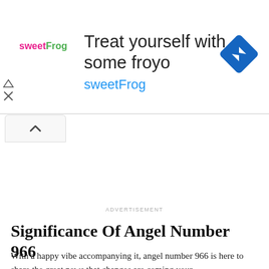[Figure (other): sweetFrog advertisement banner with logo, headline text 'Treat yourself with some froyo', subline 'sweetFrog', and a blue diamond navigation icon on the right.]
[Figure (other): Collapse/minimize button with an upward caret (^) symbol.]
ADVERTISEMENT
Significance Of Angel Number 966
With a happy vibe accompanying it, angel number 966 is here to share the great news that changes are coming your